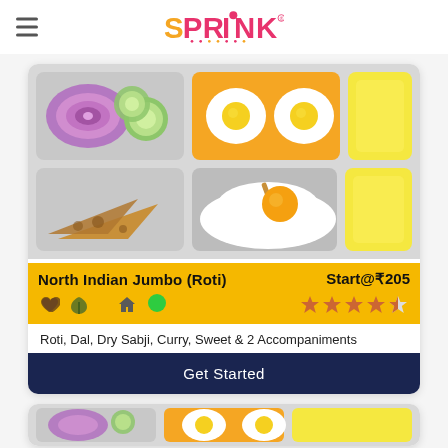SPRINK (logo)
[Figure (illustration): Illustrated food tray with compartments showing: onion and cucumber slices, fried eggs on orange tray, yellow block, roti/bread triangles, and a fried egg with orange yolk on rice/white base]
North Indian Jumbo (Roti)
Start@₹205
[Figure (other): 4.5 star rating shown with orange filled stars]
[Figure (other): Icons: heart/health, leaf/eco, home, green circle]
Roti, Dal, Dry Sabji, Curry, Sweet & 2 Accompaniments
Get Started
[Figure (illustration): Partial view of second food card showing similar tray illustration (onion/cucumber, eggs, yellow block)]